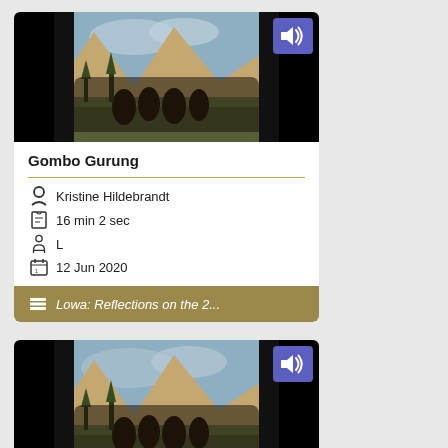[Figure (screenshot): Video thumbnail showing people riding horses in a mountainous landscape with a speaker/audio icon button in top right corner]
Gombo Gurung
Kristine Hildebrandt
16 min 2 sec
L
12 Jun 2020
Lowa: Reflections on the 2...
[Figure (screenshot): Video thumbnail showing people riding horses in a mountainous landscape with a speaker/audio icon button in top right corner]
Chinyi Angmo
Kristine Hildebrandt
13 min 38 sec
L